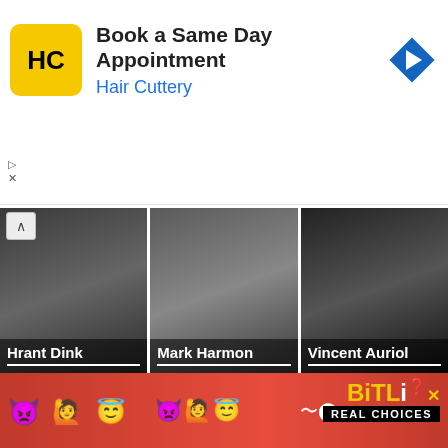[Figure (screenshot): Hair Cuttery advertisement banner: 'Book a Same Day Appointment / Hair Cuttery' with HC logo and navigation arrow icon]
[Figure (photo): Grid of 6 person photos: Hrant Dink, Mark Harmon, Vincent Auriol (top row); Dora Gabe, Robertson ..., Lauren Bacall (bottom row)]
More Chinese Snake People
[Figure (screenshot): BitLife Real Choices advertisement banner with emoji icons and BitLife logo]